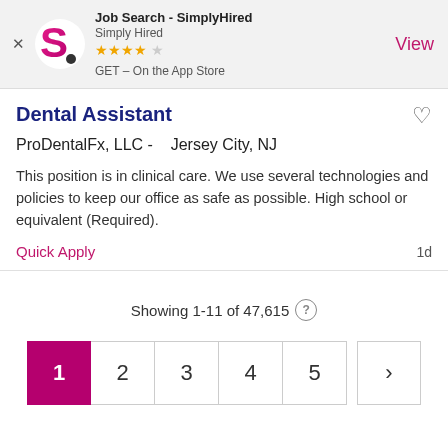Job Search - SimplyHired | Simply Hired | GET – On the App Store | View
Dental Assistant
ProDentalFx, LLC -   Jersey City, NJ
This position is in clinical care. We use several technologies and policies to keep our office as safe as possible. High school or equivalent (Required).
Quick Apply   1d
Showing 1-11 of 47,615
1  2  3  4  5  >